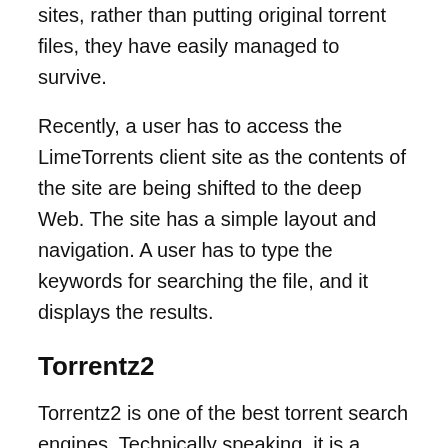sites, rather than putting original torrent files, they have easily managed to survive.
Recently, a user has to access the LimeTorrents client site as the contents of the site are being shifted to the deep Web. The site has a simple layout and navigation. A user has to type the keywords for searching the file, and it displays the results.
Torrentz2
Torrentz2 is one of the best torrent search engines. Technically speaking, it is a metasearch engine, which means they search other torrent sites for you. It is an alternative or a replacement to the original torrentz site, that used to serve as a metasearch engine for Bit torrent.